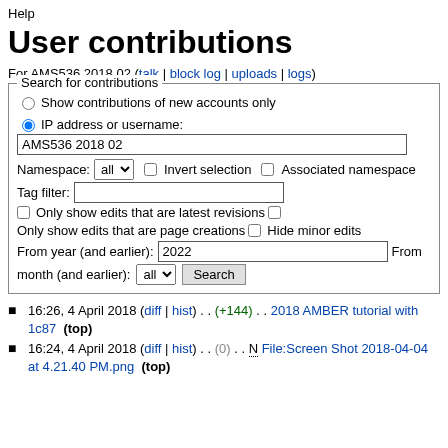Help
User contributions
For AMS536 2018 02 (talk | block log | uploads | logs)
Search for contributions — Show contributions of new accounts only; IP address or username: AMS536 2018 02; Namespace: all; Invert selection; Associated namespace; Tag filter: ; Only show edits that are latest revisions; Only show edits that are page creations; Hide minor edits; From year (and earlier): 2022; From month (and earlier): all; Search
16:26, 4 April 2018 (diff | hist) . . (+144) . . 2018 AMBER tutorial with 1c87  (top)
16:24, 4 April 2018 (diff | hist) . . (0) . . N File:Screen Shot 2018-04-04 at 4.21.40 PM.png  (top)